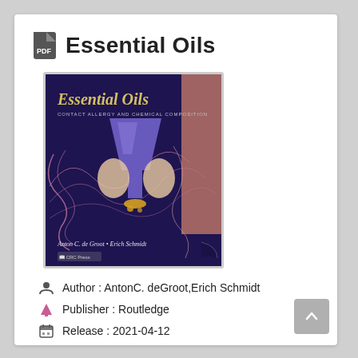Essential Oils
[Figure (photo): Book cover of 'Essential Oils: Contact Allergy and Chemical Composition' by Anton C. de Groot and Erich Schmidt, published by CRC Press. Purple/dark background with a stylized illustration of a chemistry flask and botanical elements.]
Author : AntonC. deGroot,Erich Schmidt
Publisher : Routledge
Release : 2021-04-12
ISBN : 1000434494